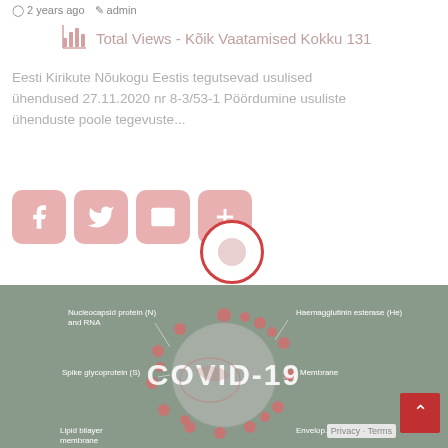2 years ago  admin
Total Views - Kõik Vaatamised Kokku 131
Eesti Kirikute Nõukogu Eestis tegutsevad usulised ühendused 27.11.2020 nr 8-3/53-1 Pöördumine usuliste ühenduste poole tegevuste...
[Figure (infographic): Social share buttons: Facebook, Twitter, Email, Add/Plus icons in pink/salmon rounded squares, plus a circular button with red border]
[Figure (photo): COVID-19 virus diagram with labeled parts: Nucleocapsid protein (N) and RNA, Spike glycoprotein (S), Lipid bilayer membrane, Haemagglutinin esterase (He), Membrane, Envelope. Large COVID-19 text overlay on gray background.]